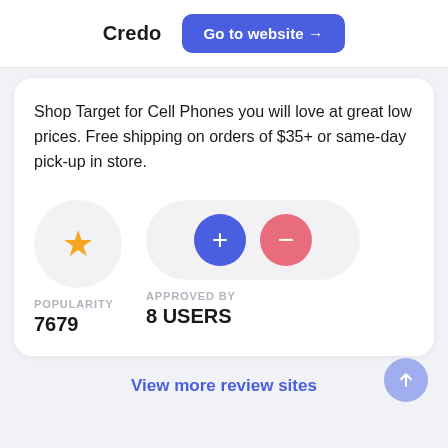Credo  Go to website →
Shop Target for Cell Phones you will love at great low prices. Free shipping on orders of $35+ or same-day pick-up in store.
POPULARITY
7679
APPROVED BY
8 USERS
View more review sites